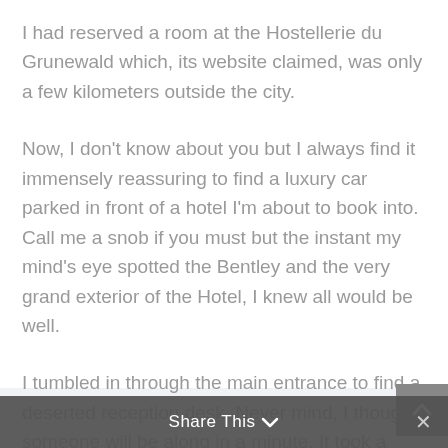I had reserved a room at the Hostellerie du Grunewald which, its website claimed, was only a few kilometers outside the city.
Now, I don't know about you but I always find it immensely reassuring to find a luxury car parked in front of a hotel I'm about to book into. Call me a snob if you must but the instant my mind's eye spotted the Bentley and the very grand exterior of the Hotel, I knew all would be well.
I tumbled in through the main entrance to find a deserted reception desk. Never mind, I thought, someone will be along in a minute. It took a moment for the splendor of the room to sink in. Cameo colored walls, burgundy and cream weave
Share This ∨  ×